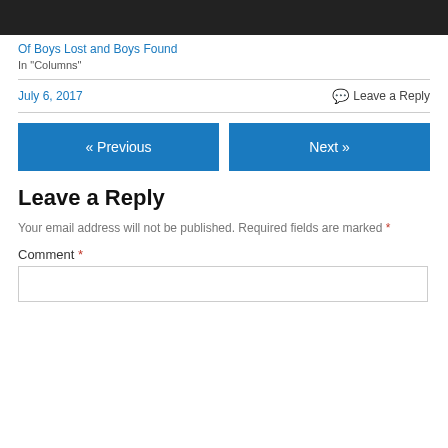[Figure (photo): Black and white photo strip showing top portion of a person's face]
Of Boys Lost and Boys Found
In "Columns"
July 6, 2017
Leave a Reply
« Previous
Next »
Leave a Reply
Your email address will not be published. Required fields are marked *
Comment *